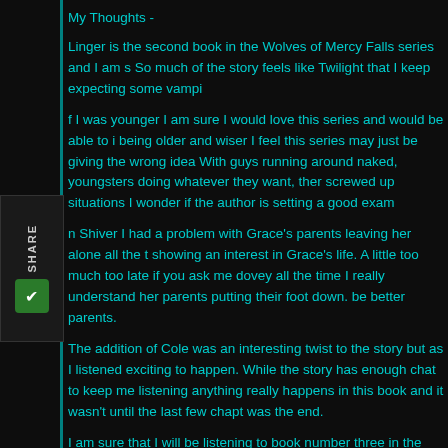My Thoughts -
Linger is the second book in the Wolves of Mercy Falls series and I am s So much of the story feels like Twilight that I keep expecting some vampi
f I was younger I am sure I would love this series and would be able to i being older and wiser I feel this series may just be giving the wrong idea With guys running around naked, youngsters doing whatever they want, ther screwed up situations I wonder if the author is setting a good exam
n Shiver I had a problem with Grace's parents leaving her alone all the t showing an interest in Grace's life. A little too much too late if you ask me dovey all the time I really understand her parents putting their foot down. be better parents.
The addition of Cole was an interesting twist to the story but as I listened exciting to happen. While the story has enough chat to keep me listening anything really happens in this book and it wasn't until the last few chapt was the end.
I am sure that I will be listening to book number three in the series when where things go and what happens next. On the other hand I find Grace understatement to say that I am extremely confused about this series :)
Posted by Unknown at 9:27 PM